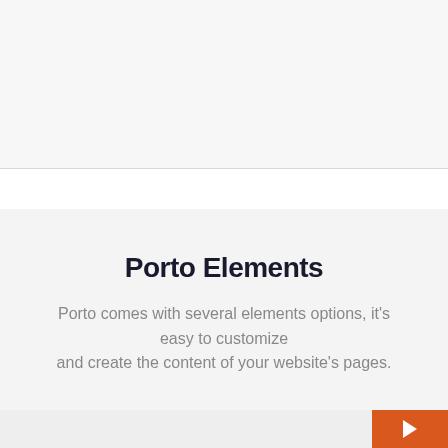Porto Elements
Porto comes with several elements options, it's easy to customize and create the content of your website's pages.